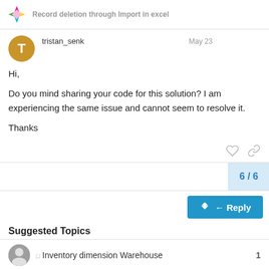Record deletion through Import in excel
tristan_senk  May 23
Hi,

Do you mind sharing your code for this solution? I am experiencing the same issue and cannot seem to resolve it.

Thanks
6 / 6
Reply
Suggested Topics
Inventory dimension Warehouse  1